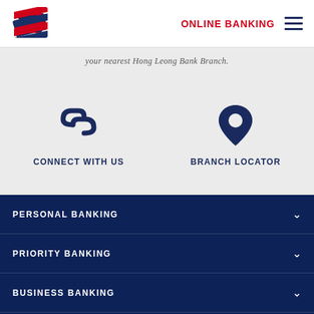[Figure (logo): Bank logo with striped flag-like icon in red, white, blue]
ONLINE BANKING
your nearest Hong Leong Bank Branch.
[Figure (illustration): Chain link icon for Connect With Us]
CONNECT WITH US
[Figure (illustration): Map pin/location icon for Branch Locator]
BRANCH LOCATOR
PERSONAL BANKING
PRIORITY BANKING
BUSINESS BANKING
GLOBAL MARKETS
ABOUT US
CORPORATE GOVERNANCE